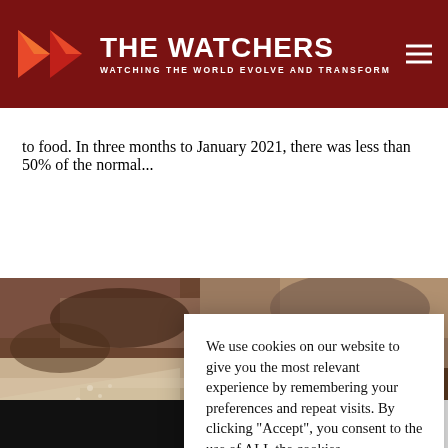THE WATCHERS — WATCHING THE WORLD EVOLVE AND TRANSFORM
to food. In three months to January 2021, there was less than 50% of the normal...
[Figure (photo): Satellite image of a dry landscape/terrain, likely showing drought conditions]
We use cookies on our website to give you the most relevant experience by remembering your preferences and repeat visits. By clicking “Accept”, you consent to the use of ALL the cookies.
Do not sell my personal information.